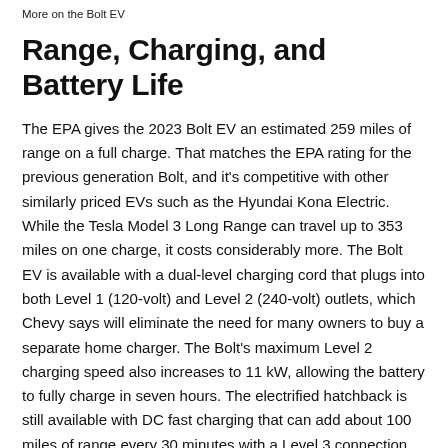More on the Bolt EV
Range, Charging, and Battery Life
The EPA gives the 2023 Bolt EV an estimated 259 miles of range on a full charge. That matches the EPA rating for the previous generation Bolt, and it's competitive with other similarly priced EVs such as the Hyundai Kona Electric. While the Tesla Model 3 Long Range can travel up to 353 miles on one charge, it costs considerably more. The Bolt EV is available with a dual-level charging cord that plugs into both Level 1 (120-volt) and Level 2 (240-volt) outlets, which Chevy says will eliminate the need for many owners to buy a separate home charger. The Bolt's maximum Level 2 charging speed also increases to 11 kW, allowing the battery to fully charge in seven hours. The electrified hatchback is still available with DC fast charging that can add about 100 miles of range every 30 minutes with a Level 3 connection.
Fuel Economy and Real-